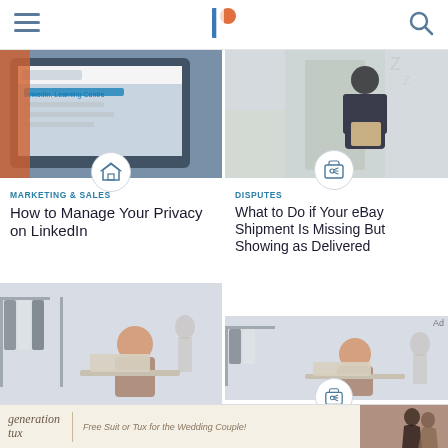Navigation header with hamburger menu, logo, and search icon
[Figure (screenshot): LinkedIn Learning Center screenshot on tablet device – top left card image]
MARKETING & SALES
How to Manage Your Privacy on LinkedIn
[Figure (photo): Delivery person at door with package – top right card image]
DISPUTES
What to Do if Your eBay Shipment Is Missing But Showing as Delivered
[Figure (photo): Woman working at laptop in clothing store – bottom left card image]
[Figure (photo): Woman working at laptop in clothing store – bottom right card image]
[Figure (advertisement): generation tux advertisement banner – Free Suit or Tux for the Wedding Couple!]